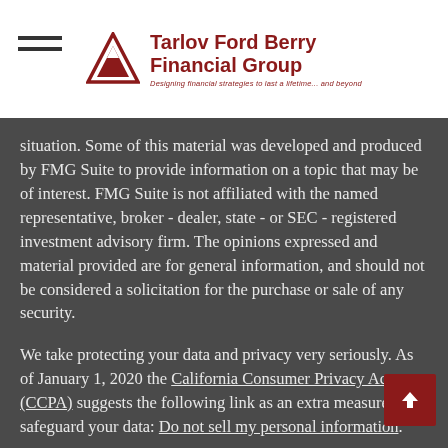[Figure (logo): Tarlov Ford Berry Financial Group logo with red triangle, company name in red, and tagline 'Designing financial strategies to last a lifetime... and beyond']
situation. Some of this material was developed and produced by FMG Suite to provide information on a topic that may be of interest. FMG Suite is not affiliated with the named representative, broker - dealer, state - or SEC - registered investment advisory firm. The opinions expressed and material provided are for general information, and should not be considered a solicitation for the purchase or sale of any security.
We take protecting your data and privacy very seriously. As of January 1, 2020 the California Consumer Privacy Act (CCPA) suggests the following link as an extra measure to safeguard your data: Do not sell my personal information.
Copyright 2022 FMG Suite.
Cetera Wealth Partners is a region of Cetera Advisor Networks